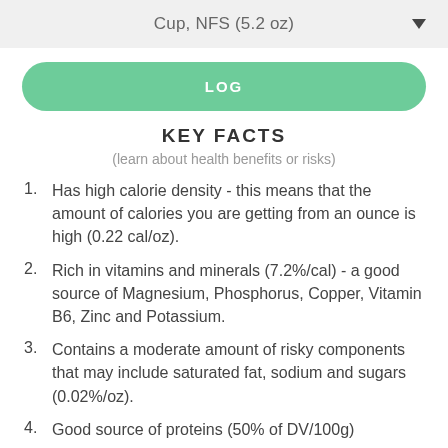Cup, NFS (5.2 oz)
LOG
KEY FACTS
(learn about health benefits or risks)
Has high calorie density - this means that the amount of calories you are getting from an ounce is high (0.22 cal/oz).
Rich in vitamins and minerals (7.2%/cal) - a good source of Magnesium, Phosphorus, Copper, Vitamin B6, Zinc and Potassium.
Contains a moderate amount of risky components that may include saturated fat, sodium and sugars (0.02%/oz).
Good source of proteins (50% of DV/100g)